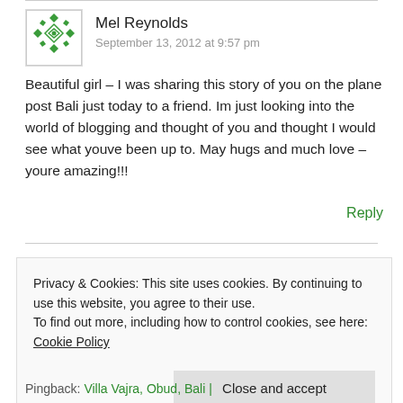Mel Reynolds
September 13, 2012 at 9:57 pm
Beautiful girl – I was sharing this story of you on the plane post Bali just today to a friend. Im just looking into the world of blogging and thought of you and thought I would see what youve been up to. May hugs and much love – youre amazing!!!
Reply
Privacy & Cookies: This site uses cookies. By continuing to use this website, you agree to their use.
To find out more, including how to control cookies, see here: Cookie Policy
Close and accept
Pingback: Villa Vajra, Obud, Bali |